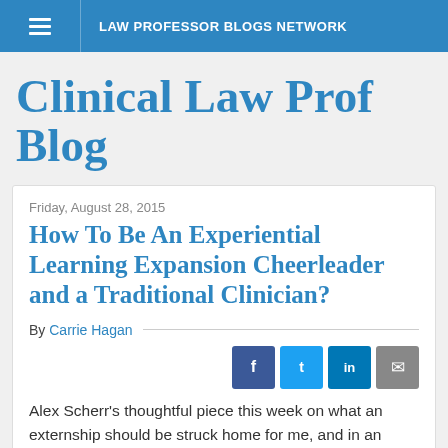LAW PROFESSOR BLOGS NETWORK
Clinical Law Prof Blog
Friday, August 28, 2015
How To Be An Experiential Learning Expansion Cheerleader and a Traditional Clinician?
By Carrie Hagan
Alex Scherr's thoughtful piece this week on what an externship should be struck home for me, and in an